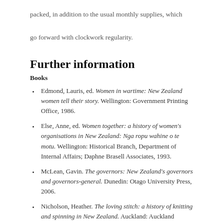packed, in addition to the usual monthly supplies, which go forward with clockwork regularity.
Further information
Books
Edmond, Lauris, ed. Women in wartime: New Zealand women tell their story. Wellington: Government Printing Office, 1986.
Else, Anne, ed. Women together: a history of women's organisations in New Zealand: Nga ropu wahine o te motu. Wellington: Historical Branch, Department of Internal Affairs; Daphne Brasell Associates, 1993.
McLean, Gavin. The governors: New Zealand's governors and governors-general. Dunedin: Otago University Press, 2006.
Nicholson, Heather. The loving stitch: a history of knitting and spinning in New Zealand. Auckland: Auckland University Press, 1998.